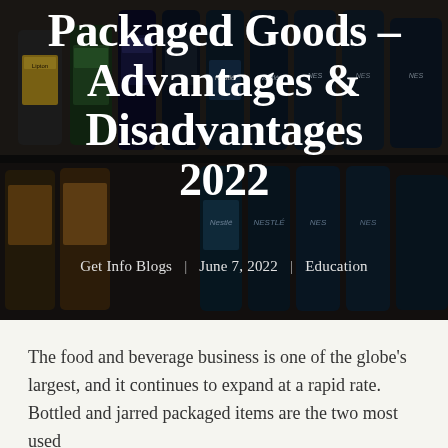[Figure (photo): Dark background photo of shelves stocked with bottled and jarred packaged goods including Nestlé and Lipton branded products]
Packaged Goods – Advantages & Disadvantages 2022
Get Info Blogs | June 7, 2022 | Education
The food and beverage business is one of the globe's largest, and it continues to expand at a rapid rate. Bottled and jarred packaged items are the two most used